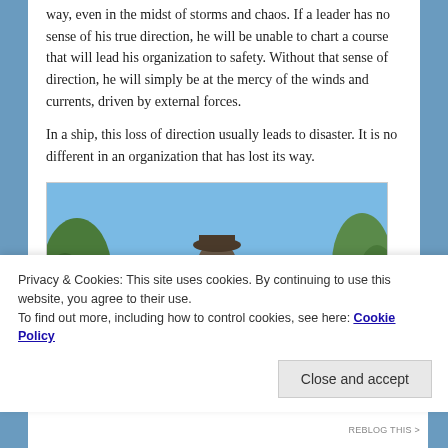way, even in the midst of storms and chaos. If a leader has no sense of his true direction, he will be unable to chart a course that will lead his organization to safety. Without that sense of direction, he will simply be at the mercy of the winds and currents, driven by external forces.
In a ship, this loss of direction usually leads to disaster. It is no different in an organization that has lost its way.
[Figure (photo): Bronze statue of a sailor or captain figure against a blue sky background with trees visible on the sides]
Privacy & Cookies: This site uses cookies. By continuing to use this website, you agree to their use. To find out more, including how to control cookies, see here: Cookie Policy